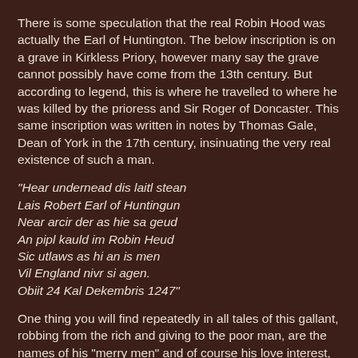There is some speculation that the real Robin Hood was actually the Earl of Huntington. The below inscription is on a grave in Kirkless Priory, however many say the grave cannot possibly have come from the 13th century. But according to legend, this is where he travelled to where he was killed by the prioress and Sir Roger of Doncaster. This same inscription was written in notes by Thomas Gale, Dean of York in the 17th century, insinuating the very real existence of such a man.
"Hear undernead dis laitl stean
Lais Robert Earl of Huntingun
Near arcir der as hie sa geud
An pipl kauld im Robin Heud
Sic utlaws as hi an is men
Vil England nivr si agen.
Obiit 24 Kal Dekembris 1247"
One thing you will find repeatedly in all tales of this gallant, robbing from the rich and giving to the poor man, are the names of his "merry men" and of course his love interest, Maid Marian. There's Little John, Friar Tuck, Will Scarlet, Alan-a-Dale, and...